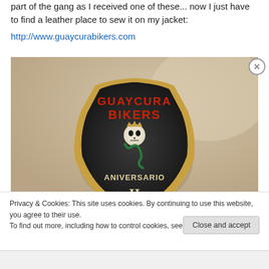part of the gang as I received one of these... now I just have to find a leather place to sew it on my jacket:
http://www.guaycurabikers.com
[Figure (photo): A close-up photo of an embroidered biker patch on a light fabric surface. The patch reads 'GUAYCURA BIKERS' in red lettering at the top, with a skull and snake graphic in the center, and 'ANIVERSARIO' along the bottom with the Roman numeral II below it. The patch has a dark background with a gold/brown border.]
Privacy & Cookies: This site uses cookies. By continuing to use this website, you agree to their use.
To find out more, including how to control cookies, see here: Cookie Policy
Close and accept